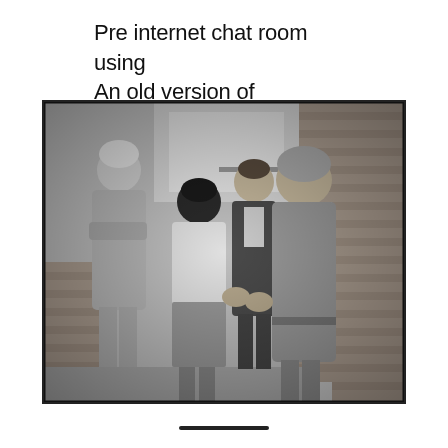Pre internet chat room using An old version of windows...
[Figure (photo): Black and white photograph of four women chatting outdoors near a brick wall and doorway. One woman has white hair, one has her back turned wearing a white apron, one is in a dark jacket, and one wears a headscarf and long coat.]